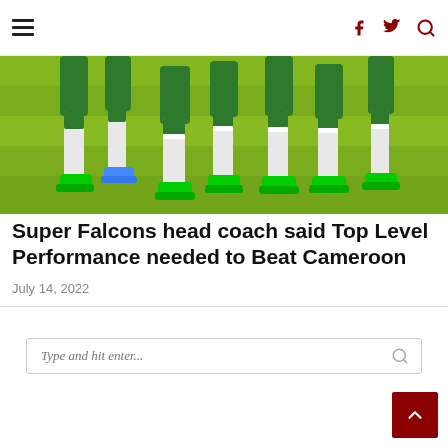Navigation bar with hamburger menu, Facebook, Twitter, and Search icons
[Figure (photo): Cropped photo of soccer players' legs wearing green and white uniforms and green cleats on a grass field]
Super Falcons head coach said Top Level Performance needed to Beat Cameroon
July 14, 2022
Type and hit enter...